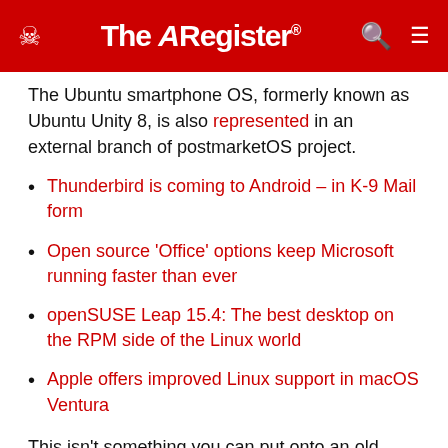The Register
The Ubuntu smartphone OS, formerly known as Ubuntu Unity 8, is also represented in an external branch of postmarketOS project.
Thunderbird is coming to Android – in K-9 Mail form
Open source 'Office' options keep Microsoft running faster than ever
openSUSE Leap 15.4: The best desktop on the RPM side of the Linux world
Apple offers improved Linux support in macOS Ventura
This isn't something you can put onto an old phone and give to your grandma just yet. It's still relatively early